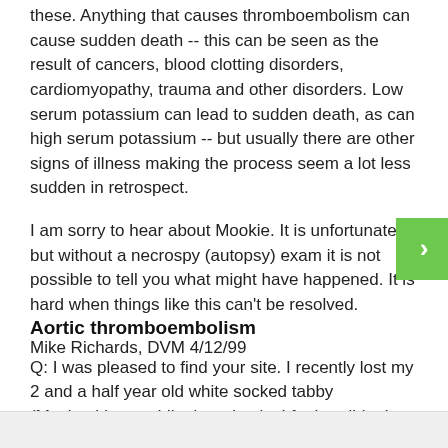these. Anything that causes thromboembolism can cause sudden death -- this can be seen as the result of cancers, blood clotting disorders, cardiomyopathy, trauma and other disorders. Low serum potassium can lead to sudden death, as can high serum potassium -- but usually there are other signs of illness making the process seem a lot less sudden in retrospect.
I am sorry to hear about Mookie. It is unfortunate but without a necrospy (autopsy) exam it is not possible to tell you what might have happened. It is hard when things like this can't be resolved.
Mike Richards, DVM 4/12/99
Aortic thromboembolism
Q: I was pleased to find your site. I recently lost my 2 and a half year old white socked tabby (Meshach) to saddle thrombosis. I feel terrible. I want to learn more about the disease, not because I think my vet could have done something and didn't want to, but because it seems like such a sticky problem. I am simply eager to learn